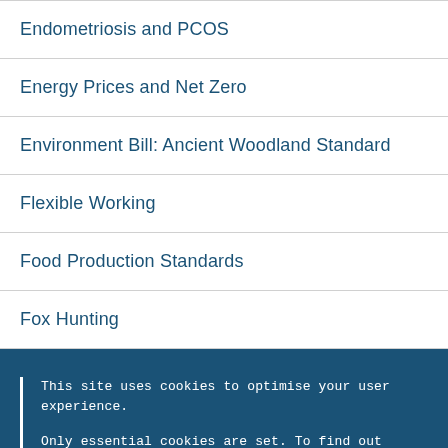Endometriosis and PCOS
Energy Prices and Net Zero
Environment Bill: Ancient Woodland Standard
Flexible Working
Food Production Standards
Fox Hunting
This site uses cookies to optimise your user experience.

Only essential cookies are set. To find out more, including how to opt out, please visit the Cookies page.
OK  Hide this message and remember my decision